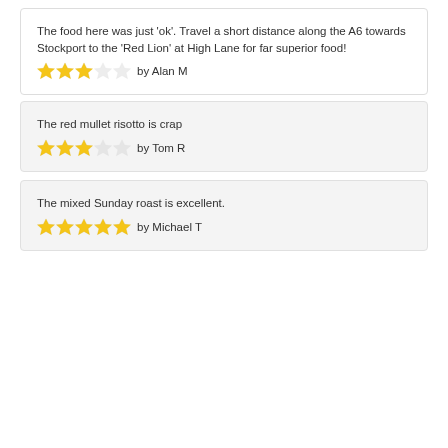The food here was just 'ok'. Travel a short distance along the A6 towards Stockport to the 'Red Lion' at High Lane for far superior food! ★★★☆☆ by Alan M
The red mullet risotto is crap ★★★☆☆ by Tom R
The mixed Sunday roast is excellent. ★★★★★ by Michael T